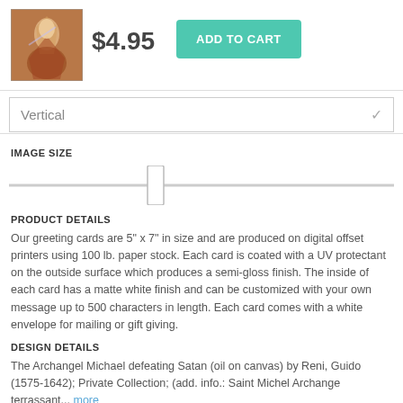[Figure (photo): Thumbnail image of The Archangel Michael defeating Satan painting]
$4.95
ADD TO CART
Vertical
IMAGE SIZE
PRODUCT DETAILS
Our greeting cards are 5" x 7" in size and are produced on digital offset printers using 100 lb. paper stock. Each card is coated with a UV protectant on the outside surface which produces a semi-gloss finish. The inside of each card has a matte white finish and can be customized with your own message up to 500 characters in length. Each card comes with a white envelope for mailing or gift giving.
DESIGN DETAILS
The Archangel Michael defeating Satan (oil on canvas) by Reni, Guido (1575-1642); Private Collection; (add. info.: Saint Michel Archange terrassant... more